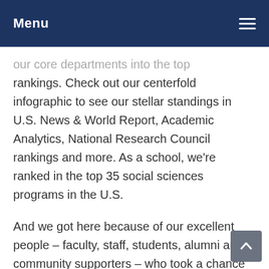Menu
our core departments into the top rankings. Check out our centerfold infographic to see our stellar standings in U.S. News & World Report, Academic Analytics, National Research Council rankings and more. As a school, we're ranked in the top 35 social sciences programs in the U.S.
And we got here because of our excellent people – faculty, staff, students, alumni and community supporters – who took a chance on a